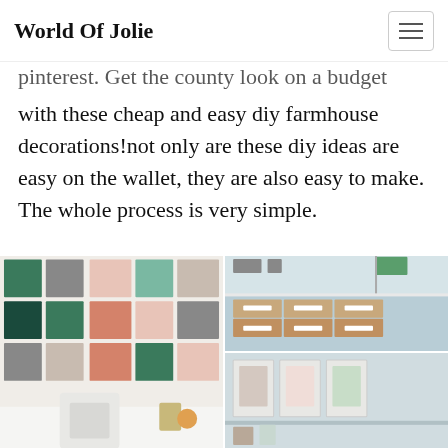World Of Jolie
pinterest. Get the county look on a budget with these cheap and easy diy farmhouse decorations!not only are these diy ideas are easy on the wallet, they are also easy to make. The whole process is very simple.
[Figure (photo): Grid of four home organization and decor photos: top-left shows white shelving unit with labeled kraft paper boxes; top-right and bottom-right show a wall decorated with patterned fabric or paper swatches in mint, pink, and grey tones with a white desk and chair; bottom-left shows a desk area with artwork and storage containers.]